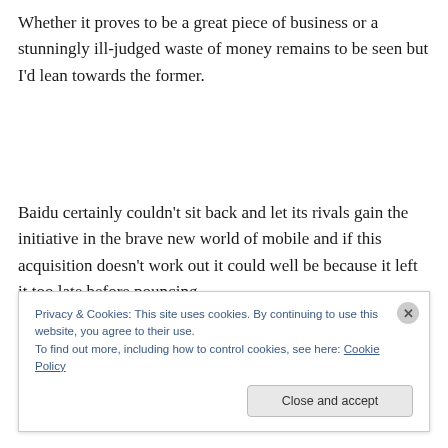Whether it proves to be a great piece of business or a stunningly ill-judged waste of money remains to be seen but I'd lean towards the former.
Baidu certainly couldn't sit back and let its rivals gain the initiative in the brave new world of mobile and if this acquisition doesn't work out it could well be because it left it too late before pouncing.
Privacy & Cookies: This site uses cookies. By continuing to use this website, you agree to their use.
To find out more, including how to control cookies, see here: Cookie Policy